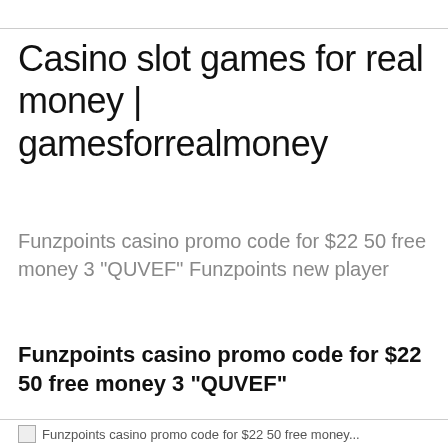Casino slot games for real money | gamesforrealmoney
Funzpoints casino promo code for $22 50 free money 3 "QUVEF" Funzpoints new player
Funzpoints casino promo code for $22 50 free money 3 "QUVEF"
Funzpoints casino promo code for $22 50 free money...